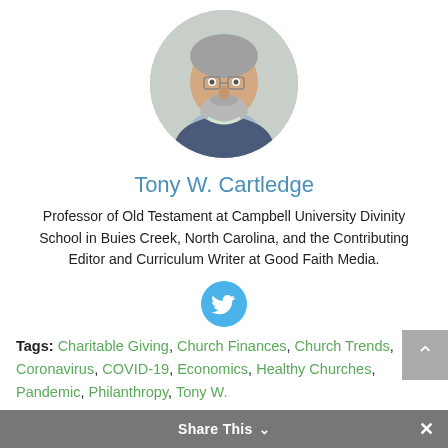[Figure (photo): Oval portrait photo of Tony W. Cartledge, an older man with gray hair and beard, wearing glasses and a blue blazer]
Tony W. Cartledge
Professor of Old Testament at Campbell University Divinity School in Buies Creek, North Carolina, and the Contributing Editor and Curriculum Writer at Good Faith Media.
[Figure (logo): Twitter bird icon in a blue circle]
Tags: Charitable Giving, Church Finances, Church Trends, Coronavirus, COVID-19, Economics, Healthy Churches, Pandemic, Philanthropy, Tony W.
Share This ∨  ×